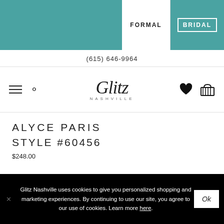FORMAL | BRIDAL
(615) 646-9964
[Figure (logo): Glitz Nashville script logo with NASHVILLE text below]
ALYCE PARIS
STYLE #60456
$248.00
Glitz Nashville uses cookies to give you personalized shopping and marketing experiences. By continuing to use our site, you agree to our use of cookies. Learn more here.